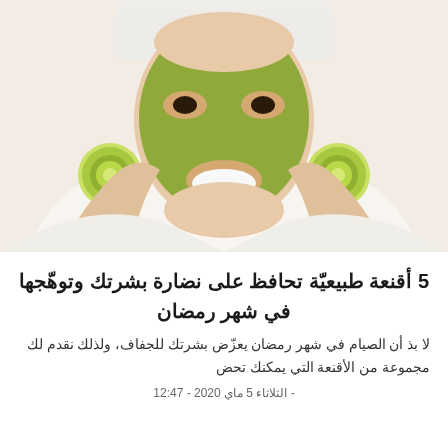[Figure (photo): A smiling woman wearing a white towel on her head and a green facial mask, holding two cucumber slices up beside her face]
5 أقنعة طبيعيّة تحافظ على نضارة بشرتك وتوهّجها في شهر رمضان
لا بذ أن الصيام في شهر رمضان يعزّض بشرتك للجفاف، ولذلك نقدم لك مجموعة من الأقنعة التي يمكنك تحض
- الثلاثاء 5 ماي 2020 - 12:47